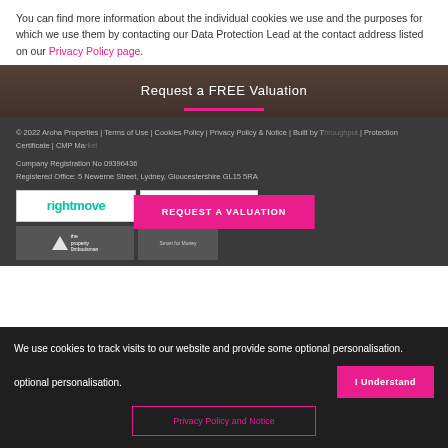You can find more information about the individual cookies we use and the purposes for which we use them by contacting our Data Protection Lead at the contact address listed on our Privacy Policy page.
Request a FREE Valuation
© 2022 Aroha Properties | Terms of Use | Cookies Policy | Privacy Policy & Notice | Built by T... Protection Certificate | CMP Ma...
Company Registration No 09396436
Registered Office: 5 Newerne Street, Lydney, Gloucestershire GL15 5RA
[Figure (logo): Rightmove logo]
[Figure (logo): OnTheMarket logo with 'See all our properties at' label]
[Figure (logo): The Property Ombudsman logo]
We use cookies to track visits to our website and provide some optional personalisation.
I Understand
Privacy Policy and Notice